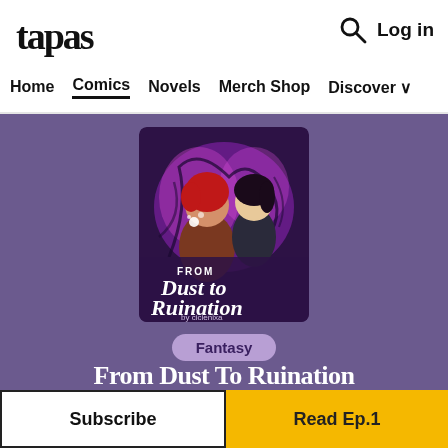tapas
Log in
Home  Comics  Novels  Merch Shop  Discover
[Figure (illustration): Book cover for 'From Dust to Ruination by cicienixa' — two anime-style characters against a dark purple magical background with pink swirling energy. Text on cover: FROM Dust to Ruination by cicienixa]
Fantasy
From Dust To Ruination
Subscribe
Read Ep.1